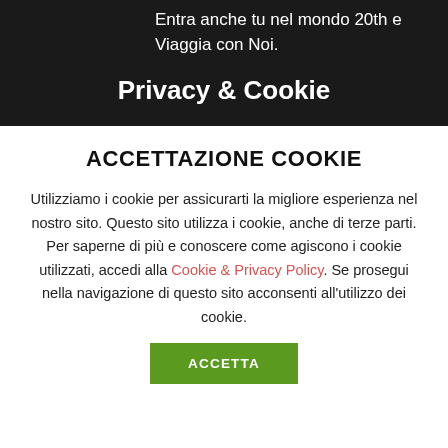Entra anche tu nel mondo 20th e Viaggia con Noi.
Privacy & Cookie
ACCETTAZIONE COOKIE
Utilizziamo i cookie per assicurarti la migliore esperienza nel nostro sito. Questo sito utilizza i cookie, anche di terze parti. Per saperne di più e conoscere come agiscono i cookie utilizzati, accedi alla Cookie & Privacy Policy. Se prosegui nella navigazione di questo sito acconsenti all'utilizzo dei cookie.
ACCETTA